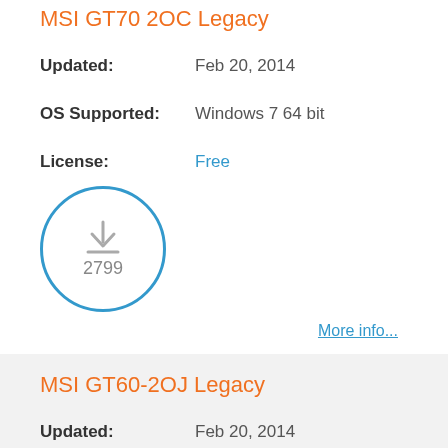MSI GT70 2OC Legacy
Updated: Feb 20, 2014
OS Supported: Windows 7 64 bit
License: Free
[Figure (other): Download icon with count 2799 inside a blue circle]
More info...
MSI GT60-2OJ Legacy
Updated: Feb 20, 2014